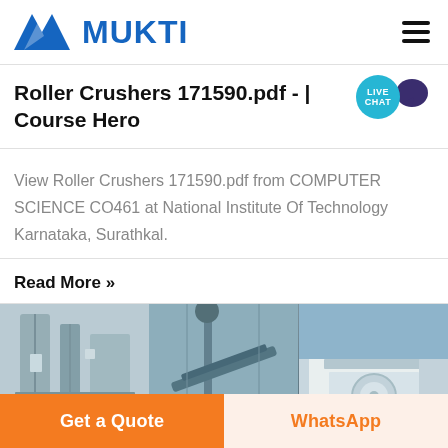MUKTI
Roller Crushers 171590.pdf - | Course Hero
View Roller Crushers 171590.pdf from COMPUTER SCIENCE CO461 at National Institute Of Technology Karnataka, Surathkal.
Read More »
[Figure (photo): Three side-by-side photos of industrial crushing/mining equipment and facilities. Left: industrial equipment with silos and pipes. Center: conveyor belt machinery outdoors. Right: large industrial building facade.]
Get a Quote
WhatsApp